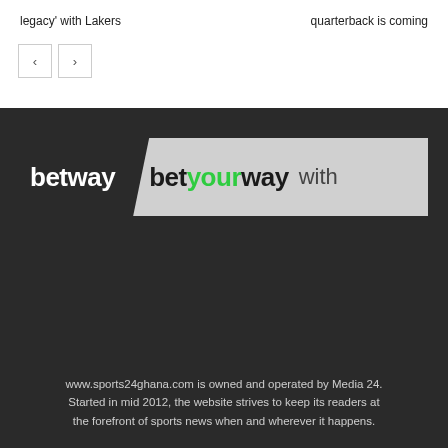legacy' with Lakers
quarterback is coming
[Figure (logo): Betway logo and betyourway banner with 'betway' on dark background and 'betyourway with' on grey parallelogram banner]
www.sports24ghana.com is owned and operated by Media 24. Started in mid 2012, the website strives to keep its readers at the forefront of sports news when and wherever it happens.